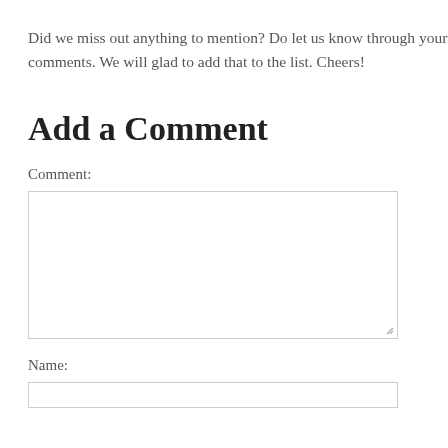Did we miss out anything to mention? Do let us know through your comments. We will glad to add that to the list. Cheers!
Add a Comment
Comment:
Name: